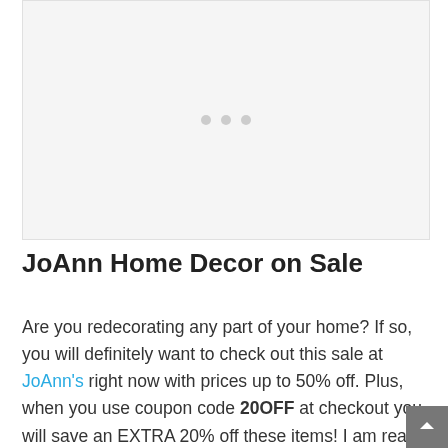[Figure (other): Placeholder image area with three dots indicator in the center]
JoAnn Home Decor on Sale
Are you redecorating any part of your home? If so, you will definitely want to check out this sale at JoAnn's right now with prices up to 50% off. Plus, when you use coupon code 20OFF at checkout you will save an EXTRA 20% off these items! I am really loving all of the red, white, and blue items for the